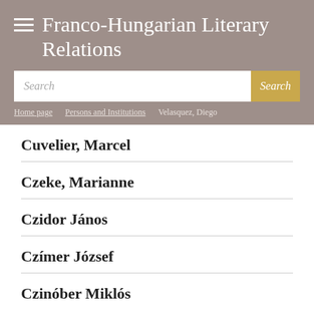Franco-Hungarian Literary Relations
Search
Home page > Persons and Institutions > Velasquez, Diego
Cuvelier, Marcel
Czeke, Marianne
Czidor János
Czímer József
Czinóber Miklós